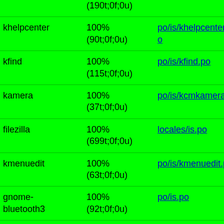| Package | Status | File |
| --- | --- | --- |
|  | (190t;0f;0u) |  |
| khelpcenter | 100%
(90t;0f;0u) | po/is/khelpcenter5.po |
| kfind | 100%
(115t;0f;0u) | po/is/kfind.po |
| kamera | 100%
(37t;0f;0u) | po/is/kcmkamera.po |
| filezilla | 100%
(699t;0f;0u) | locales/is.po |
| kmenuedit | 100%
(63t;0f;0u) | po/is/kmenuedit.po |
| gnome-bluetooth3 | 100%
(92t;0f;0u) | po/is.po |
| kgamma5 | 100%
(16t;0f;0u) | po/is/kcmkgamma.po |
| gnome-panel | 100%
(487t;0f;0u) | po/is.po |